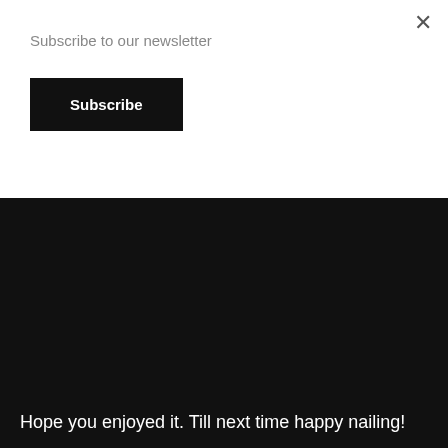Subscribe to our newsletter
Subscribe
Hope you enjoyed it. Till next time happy nailing!
Don't forget to join our facebook group here>>
[Figure (infographic): Row of 7 circular social media icon buttons: phone, facebook, twitter, email, pinterest, google+, linkedin]
This entry was posted in Acrylic monomer, News & Updates and tagged Acrylic Powder and Liquid, best acrylic powder and monomer.
Chat
GARY DAVIDOVITZ